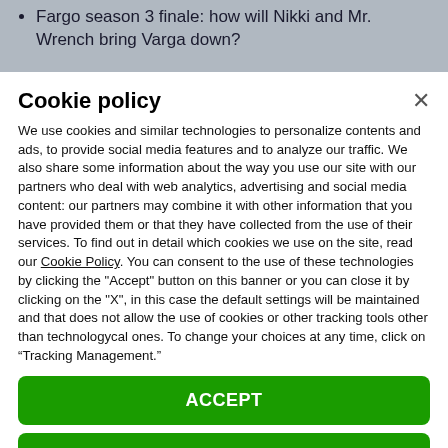Fargo season 3 finale: how will Nikki and Mr. Wrench bring Varga down?
Cookie policy
We use cookies and similar technologies to personalize contents and ads, to provide social media features and to analyze our traffic. We also share some information about the way you use our site with our partners who deal with web analytics, advertising and social media content: our partners may combine it with other information that you have provided them or that they have collected from the use of their services. To find out in detail which cookies we use on the site, read our Cookie Policy. You can consent to the use of these technologies by clicking the "Accept" button on this banner or you can close it by clicking on the "X", in this case the default settings will be maintained and that does not allow the use of cookies or other tracking tools other than technologycal ones. To change your choices at any time, click on “Tracking Management.”
ACCEPT
TRACKERS MANAGEMENT
Show vendors | Show purposes